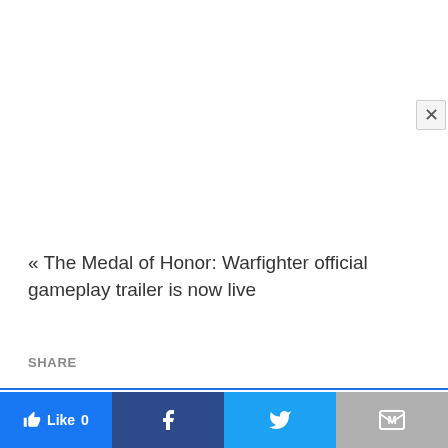« The Medal of Honor: Warfighter official gameplay trailer is now live
SHARE
This website uses cookies.
Accept
Like 0
[Figure (screenshot): Social share bar with Like, Facebook, Twitter, and Mail buttons]